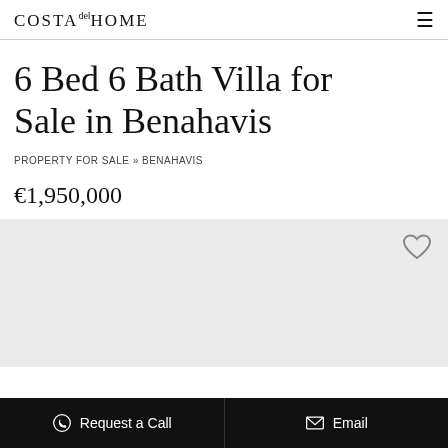Costa del Home
6 Bed 6 Bath Villa for Sale in Benahavis
PROPERTY FOR SALE » BENAHAVIS
€1,950,000
[Figure (photo): Light grey image placeholder area with a heart/favorite icon in the top right corner]
Request a Call
Email